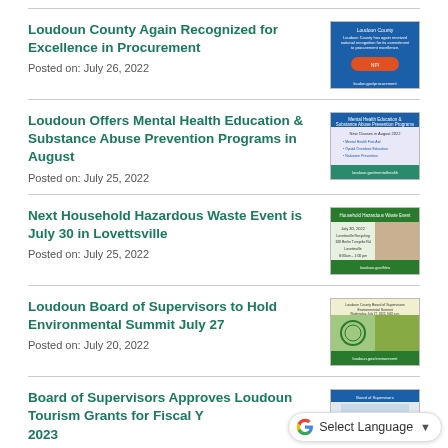Loudoun County Again Recognized for Excellence in Procurement
Posted on: July 26, 2022
[Figure (screenshot): Loudoun County procurement recognition thumbnail image]
Loudoun Offers Mental Health Education & Substance Abuse Prevention Programs in August
Posted on: July 25, 2022
[Figure (screenshot): Mental Health Education & Substance Abuse Prevention Programs thumbnail]
Next Household Hazardous Waste Event is July 30 in Lovettsville
Posted on: July 25, 2022
[Figure (screenshot): Household Hazardous Waste Event thumbnail image]
Loudoun Board of Supervisors to Hold Environmental Summit July 27
Posted on: July 20, 2022
[Figure (screenshot): Environmental Summit thumbnail image]
Board of Supervisors Approves Loudoun Tourism Grants for Fiscal Year 2023
[Figure (screenshot): Tourism grants thumbnail image]